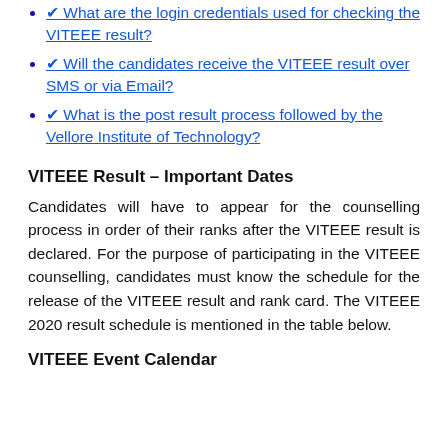✔ What are the login credentials used for checking the VITEEE result?
✔ Will the candidates receive the VITEEE result over SMS or via Email?
✔ What is the post result process followed by the Vellore Institute of Technology?
VITEEE Result – Important Dates
Candidates will have to appear for the counselling process in order of their ranks after the VITEEE result is declared. For the purpose of participating in the VITEEE counselling, candidates must know the schedule for the release of the VITEEE result and rank card. The VITEEE 2020 result schedule is mentioned in the table below.
VITEEE Event Calendar